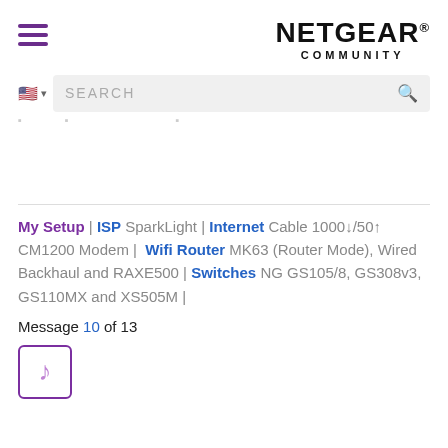NETGEAR COMMUNITY
[Figure (screenshot): Search bar with US flag icon and magnifying glass icon on grey background]
My Setup | ISP SparkLight | Internet Cable 1000↓/50↑ CM1200 Modem | Wifi Router MK63 (Router Mode), Wired Backhaul and RAXE500 | Switches NG GS105/8, GS308v3, GS110MX and XS505M |
Message 10 of 13